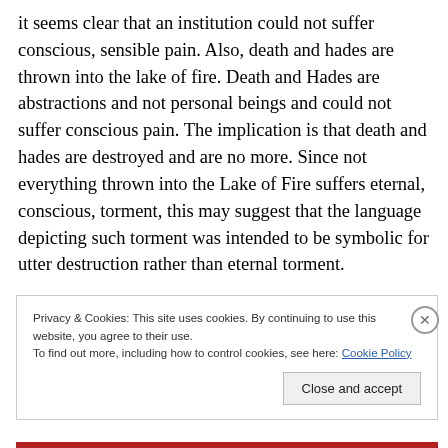it seems clear that an institution could not suffer conscious, sensible pain. Also, death and hades are thrown into the lake of fire. Death and Hades are abstractions and not personal beings and could not suffer conscious pain. The implication is that death and hades are destroyed and are no more. Since not everything thrown into the Lake of Fire suffers eternal, conscious, torment, this may suggest that the language depicting such torment was intended to be symbolic for utter destruction rather than eternal torment.
Privacy & Cookies: This site uses cookies. By continuing to use this website, you agree to their use. To find out more, including how to control cookies, see here: Cookie Policy
Close and accept